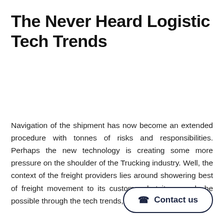The Never Heard Logistic Tech Trends
Navigation of the shipment has now become an extended procedure with tonnes of risks and responsibilities. Perhaps the new technology is creating some more pressure on the shoulder of the Trucking industry. Well, the context of the freight providers lies around showering best of freight movement to its customer, but it can only be possible through the tech trends, and this